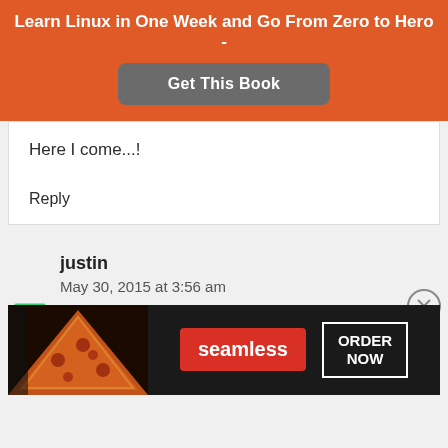Learn Linux in One Week and Go From Zero to Hero - Get This Book
Here I come...!
Reply
justin
May 30, 2015 at 3:56 am
[Figure (screenshot): Seamless food ordering advertisement banner with pizza image, seamless logo, and ORDER NOW button]